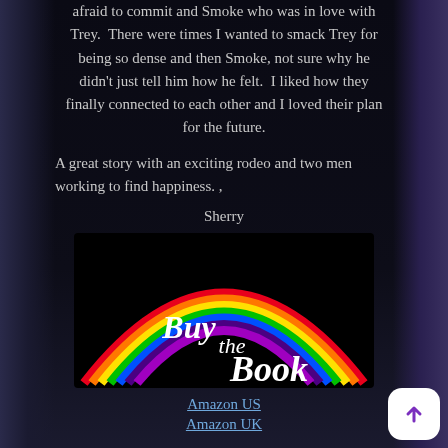afraid to commit and Smoke who was in love with Trey.  There were times I wanted to smack Trey for being so dense and then Smoke, not sure why he didn't just tell him how he felt.  I liked how they finally connected to each other and I loved their plan for the future.
A great story with an exciting rodeo and two men working to find happiness. ,
Sherry
[Figure (illustration): Black background image with a rainbow arc and text reading 'Buy the Book' in white script]
Amazon US
Amazon UK